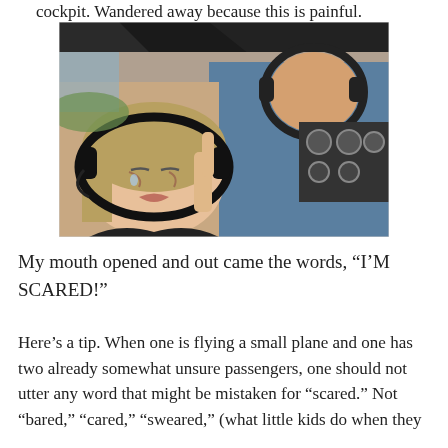cockpit. Wandered away because this is painful.
[Figure (photo): A woman with headphones on looks frightened and is crying while sitting in a small plane cockpit. A man with headphones is seated in the pilot seat with his back turned, facing the cockpit instruments.]
My mouth opened and out came the words, “I’M SCARED!”
Here’s a tip. When one is flying a small plane and one has two already somewhat unsure passengers, one should not utter any word that might be mistaken for “scared.” Not “bared,” “cared,” “sweared,” (what little kids do when they